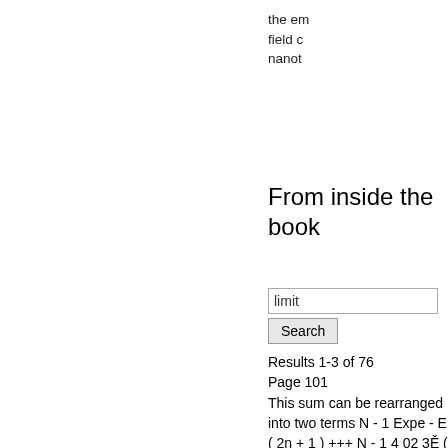the em field c nanot
From inside the book
limit
Search
Results 1-3 of 76
Page 101
This sum can be rearranged into two terms N - 1 Expe - E ( 2n + 1 ) +++ N - 1 4 02 3Ě ( 2n + 1 / { -1 } ) ) [ * ( +1 hoo ( 2n + 1 ( 5.41 ) =N n = 0 ħ n = 0 and the second term , which dominates in the